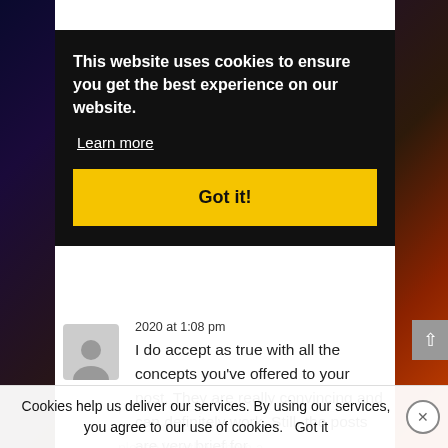[Figure (screenshot): Cookie consent overlay on a webpage with dark background, showing cookie notice text, Learn more link, and yellow Got it! button]
This website uses cookies to ensure you get the best experience on our website.
Learn more
Got it!
2020 at 1:08 pm
I do accept as true with all the concepts you've offered to your post. They are really convincing and can definitely work. Still, the posts are very brief for newbies. Could you please lengthen them a
Cookies help us deliver our services. By using our services, you agree to our use of cookies.  Got it